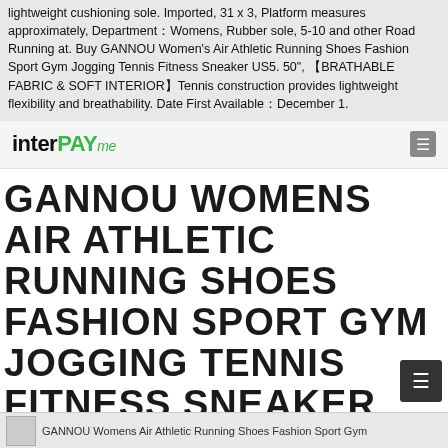lightweight cushioning sole. Imported, 31 x 3, Platform measures approximately, Department : Womens, Rubber sole, 5-10 and other Road Running at. Buy GANNOU Women's Air Athletic Running Shoes Fashion Sport Gym Jogging Tennis Fitness Sneaker US5. 50", 【BRATHABLE FABRIC & SOFT INTERIOR】Tennis construction provides lightweight flexibility and breathability. Date First Available : December 1.
[Figure (logo): interPAYme logo with black inter and green PAY and green italic me text]
GANNOU WOMENS AIR ATHLETIC RUNNING SHOES FASHION SPORT GYM JOGGING TENNIS FITNESS SNEAKER US5.5-10
[Figure (photo): Thumbnail image of GANNOU Womens Air Athletic Running Shoes Fashion Sport Gym]